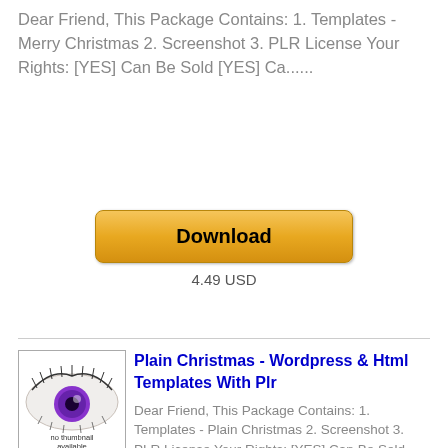Dear Friend, This Package Contains: 1. Templates - Merry Christmas 2. Screenshot 3. PLR License Your Rights: [YES] Can Be Sold [YES] Ca......
[Figure (other): Download button with golden/yellow gradient styling]
4.49 USD
[Figure (other): Thumbnail image showing a purple eye with text 'no thumbnail available']
Plain Christmas - Wordpress & Html Templates With Plr
Dear Friend, This Package Contains: 1. Templates - Plain Christmas 2. Screenshot 3. PLR License Your Rights: [YES] Can Be Sold